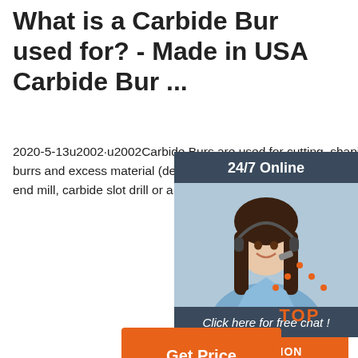What is a Carbide Bur used for? - Made in USA Carbide Bur ...
2020-5-13u2002·u2002Carbide Burs are used for cutting, shaping, grinding and the removal of sharp edges, burrs and excess material (deburring). For drilling holes or cutting a hole in metal then a carbide drill or a carbide end mill, carbide slot drill or a carbide router is required rather than a carbide burr.
[Figure (infographic): 24/7 Online chat widget with a woman wearing a headset, dark blue header saying '24/7 Online', italic text 'Click here for free chat!' and an orange button saying 'QUOTATION']
[Figure (illustration): Orange dotted triangle 'TOP' icon in bottom right corner]